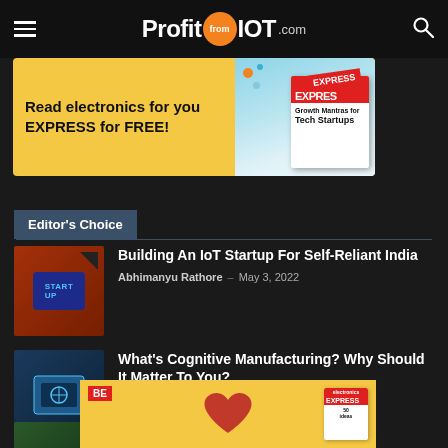ProfitfromIOT.com
[Figure (infographic): Yellow advertisement banner for 'electronics for you EXPRESS' magazine with text 'Read electronics for you EXPRESS for FREE!']
Editor's Choice
Building An IoT Startup For Self-Reliant India
Abhimanyu Rathore – May 3, 2022
What's Cognitive Manufacturing? Why Should It Matter To You?
Abhimanyu Rathore – Feb 24, 2022
The Way Ahead For IoT Startups:
[Figure (infographic): Yellow bottom advertisement banner with BE label, red heart graphic, and Electronics Express magazine cover]